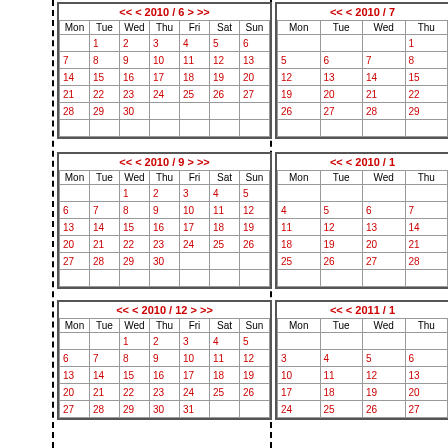[Figure (other): Calendar grid for 2010/6 (June 2010) showing days Mon-Sun with dates 1-30]
[Figure (other): Calendar grid for 2010/7 (July 2010) showing days Mon-Sun, partially visible]
[Figure (other): Calendar grid for 2010/9 (September 2010) showing days Mon-Sun with dates 1-30]
[Figure (other): Calendar grid for 2010/10 (October 2010) showing days Mon-Sun, partially visible]
[Figure (other): Calendar grid for 2010/12 (December 2010) showing days Mon-Sun with dates 1-31]
[Figure (other): Calendar grid for 2011/1 (January 2011) showing days Mon-Sun, partially visible]